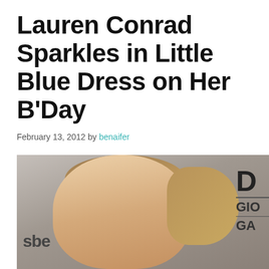Lauren Conrad Sparkles in Little Blue Dress on Her B'Day
February 13, 2012 by benaifer
[Figure (photo): Close-up photo of Lauren Conrad with blonde hair pulled back in a ponytail, photographed at an event. Background shows partial logos including 'sbe' on the left and 'D', 'GIO', 'GA' letters on the right.]